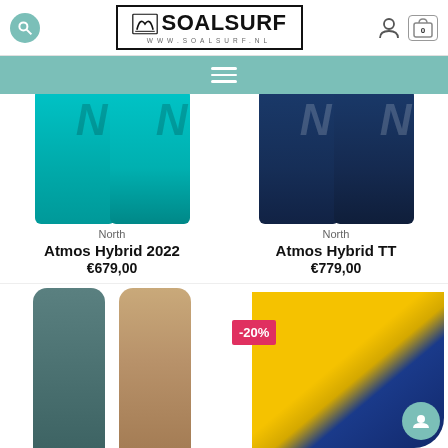[Figure (logo): SOALSURF logo with search, user, and cart icons in header]
[Figure (screenshot): Navigation bar with hamburger menu on teal background]
[Figure (photo): North Atmos Hybrid 2022 kiteboard in teal color, two views]
North
Atmos Hybrid 2022
€679,00
[Figure (photo): North Atmos Hybrid TT kiteboard in navy color, two views]
North
Atmos Hybrid TT
€779,00
[Figure (photo): Slate/teal and wood-grain kiteboard, bottom row left]
[Figure (photo): Yellow and navy kite bag with -20% discount badge, bottom row right]